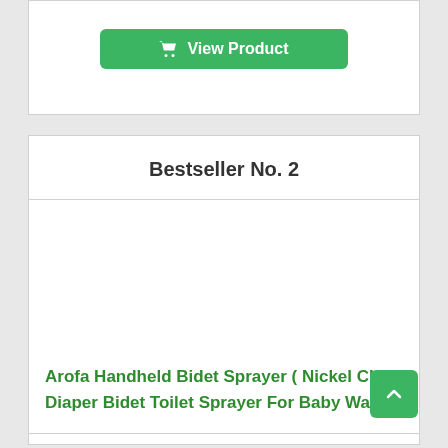[Figure (other): Green 'View Product' button with shopping cart icon at top of page]
Bestseller No. 2
[Figure (photo): Product image area for Arofa Handheld Bidet Sprayer (empty/white space)]
Arofa Handheld Bidet Sprayer ( Nickel Cloth Diaper Bidet Toilet Sprayer For Baby Wash)